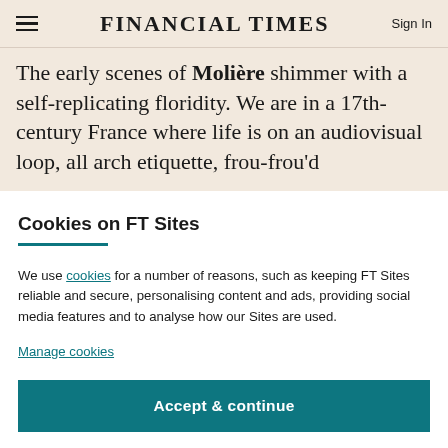FINANCIAL TIMES
The early scenes of Molière shimmer with a self-replicating floridity. We are in a 17th-century France where life is on an audiovisual loop, all arch etiquette, frou-frou'd
Cookies on FT Sites
We use cookies for a number of reasons, such as keeping FT Sites reliable and secure, personalising content and ads, providing social media features and to analyse how our Sites are used.
Manage cookies
Accept & continue